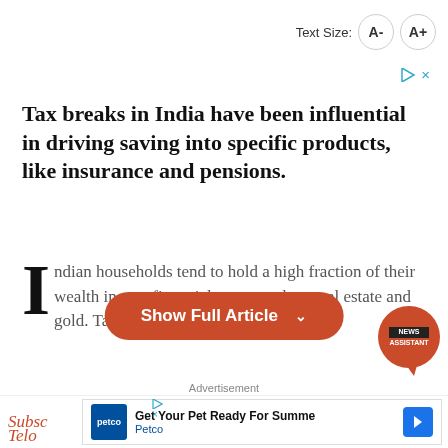Text Size: A- A+
Tax breaks in India have been influential in driving saving into specific products, like insurance and pensions.
Indian households tend to hold a high fraction of their wealth in non-financial assets such as real estate and gold. Tax
Show Full Article
[Figure (logo): News Assistant circular badge in orange/red]
Advertisement
Get Your Pet Ready For Summe Petco